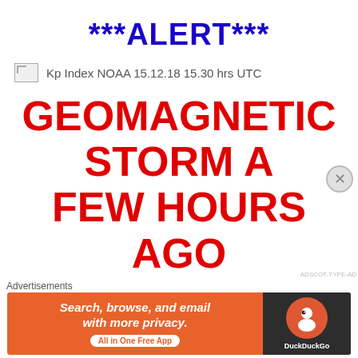***ALERT***
Kp Index NOAA 15.12.18 15.30 hrs UTC
GEOMAGNETIC STORM A FEW HOURS AGO
Kp Index is at level 5
Scale of G1
Minor
Power systems: weak power grid fluctuations can
Advertisements
[Figure (infographic): DuckDuckGo advertisement banner: Search, browse, and email with more privacy. All in One Free App. With DuckDuckGo logo on dark background.]